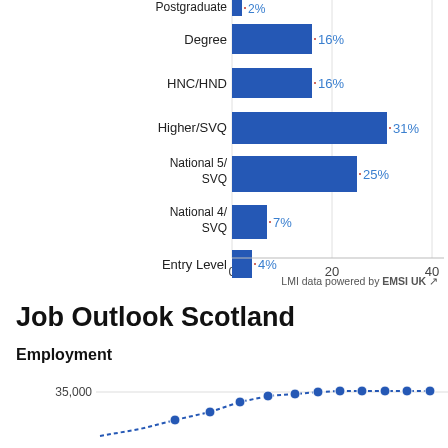[Figure (bar-chart): Qualifications]
LMI data powered by EMSI UK
Job Outlook Scotland
Employment
[Figure (line-chart): Line chart showing employment trend around 35,000 with dashed line markers, partially visible at bottom of page]